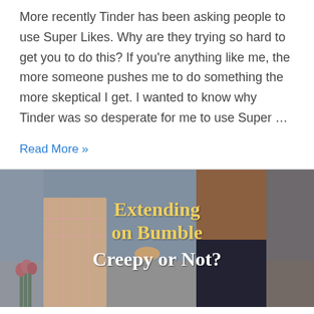More recently Tinder has been asking people to use Super Likes. Why are they trying so hard to get you to do this? If you're anything like me, the more someone pushes me to do something the more skeptical I get. I wanted to know why Tinder was so desperate for me to use Super …
Read More »
[Figure (photo): A couple holding hands walking together, woman in plaid dress holding flowers. Text overlay reads: Extending on Bumble Creepy or Not?]